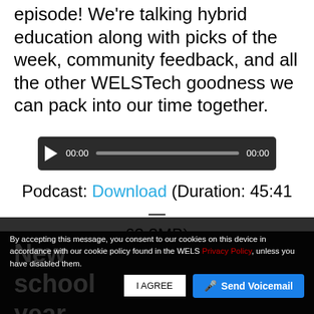episode! We're talking hybrid education along with picks of the week, community feedback, and all the other WELSTech goodness we can pack into our time together.
[Figure (other): Audio player widget with play button, time display 00:00, progress bar, and end time 00:00 on dark background]
Podcast: Download (Duration: 45:41 — 63.3MB)
The discussion
New school year, new
By accepting this message, you consent to our cookies on this device in accordance with our cookie policy found in the WELS Privacy Policy, unless you have disabled them.
I AGREE
Send Voicemail